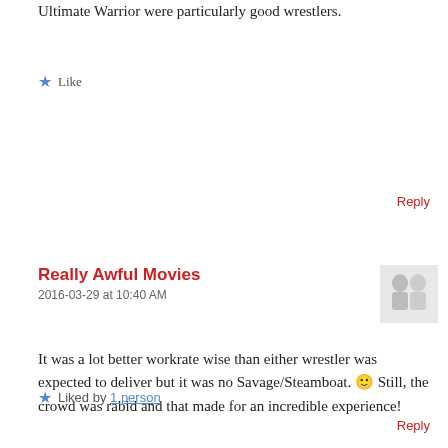Ultimate Warrior were particularly good wrestlers.
Like
Reply
Really Awful Movies
2016-03-29 at 10:40 AM
[Figure (photo): Small avatar image of two people]
It was a lot better workrate wise than either wrestler was expected to deliver but it was no Savage/Steamboat. 🙂 Still, the crowd was rabid and that made for an incredible experience!
Liked by 1 person
Reply